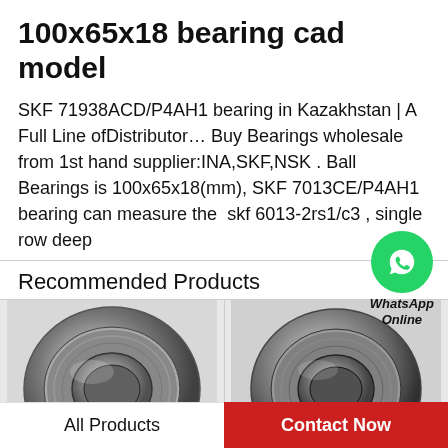100x65x18 bearing cad model
SKF 71938ACD/P4AH1 bearing in Kazakhstan | A Full Line ofDistributor… Buy Bearings wholesale from 1st hand supplier:INA,SKF,NSK . Ball Bearings is 100x65x18(mm), SKF 7013CE/P4AH1 bearing can measure the  skf 6013-2rs1/c3 , single row deep
Recommended Products
[Figure (photo): Close-up photo of a spherical roller bearing, metallic silver finish]
[Figure (photo): Close-up photo of a tapered roller bearing, metallic silver finish]
[Figure (logo): WhatsApp green circle icon with phone handset logo, labeled WhatsApp Online]
All Products | Contact Now